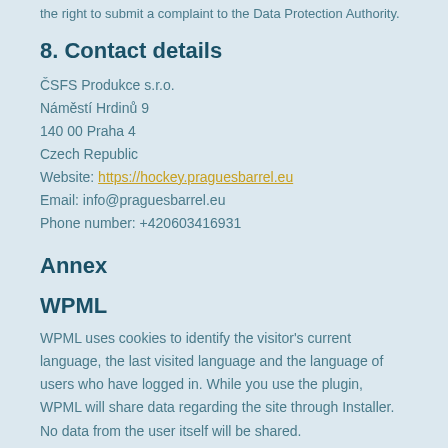the right to submit a complaint to the Data Protection Authority.
8. Contact details
ČSFS Produkce s.r.o.
Náměstí Hrdinů 9
140 00 Praha 4
Czech Republic
Website: https://hockey.praguesbarrel.eu
Email: info@praguesbarrel.eu
Phone number: +420603416931
Annex
WPML
WPML uses cookies to identify the visitor's current language, the last visited language and the language of users who have logged in. While you use the plugin, WPML will share data regarding the site through Installer. No data from the user itself will be shared.